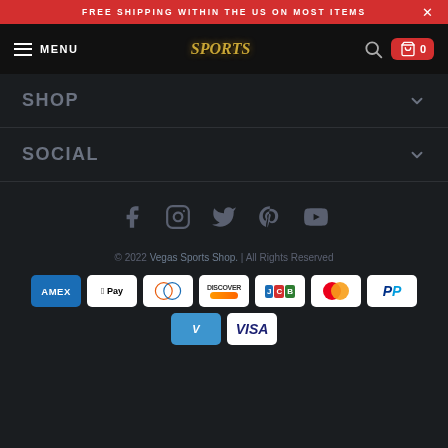FREE SHIPPING WITHIN THE US ON MOST ITEMS
[Figure (screenshot): Navigation bar with hamburger menu, MENU text, Sports logo, search icon, and cart icon showing 0]
SHOP
SOCIAL
[Figure (infographic): Social media icons: Facebook, Instagram, Twitter, Pinterest, YouTube]
© 2022 Vegas Sports Shop. | All Rights Reserved
[Figure (infographic): Payment method icons: Amex, Apple Pay, Diners Club, Discover, JCB, Mastercard, PayPal, Venmo, Visa]